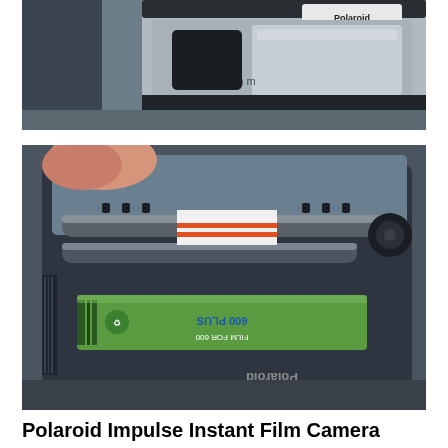[Figure (photo): Close-up photo of a Polaroid camera body (black and silver) on a textured gray surface, showing the top of the camera with the Polaroid logo visible.]
[Figure (photo): Close-up photo showing the open film compartment of a Polaroid Impulse instant film camera, with a Polaroid 600 Plus film pack (green label) inserted and a finger opening the compartment lid. The text 'Impulse' and 'Polaroid' are visible on the camera body (mirrored/upside down due to camera angle).]
Polaroid Impulse Instant Film Camera